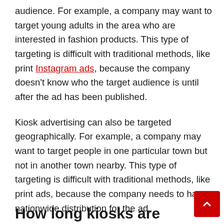audience. For example, a company may want to target young adults in the area who are interested in fashion products. This type of targeting is difficult with traditional methods, like print Instagram ads, because the company doesn't know who the target audience is until after the ad has been published.
Kiosk advertising can also be targeted geographically. For example, a company may want to target people in one particular town but not in another town nearby. This type of targeting is difficult with traditional methods, like print ads, because the company needs to have nationwide distribution for the ad.
How long kiosks are